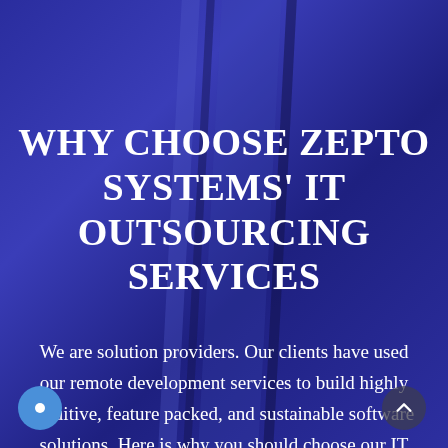WHY CHOOSE ZEPTO SYSTEMS' IT OUTSOURCING SERVICES
We are solution providers. Our clients have used our remote development services to build highly intuitive, feature packed, and sustainable software solutions. Here is why you should choose our IT outsourcing services for your IT project: